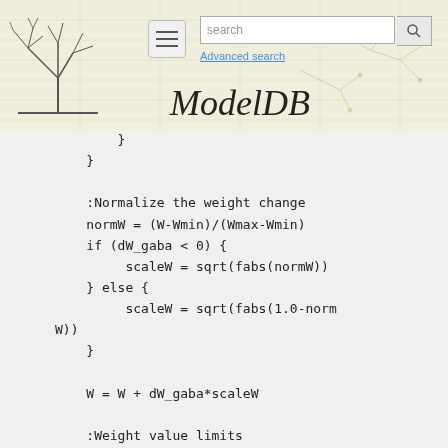[Figure (screenshot): ModelDB website header with logo (tree/neural diagram), hamburger menu button, search bar with 'search' placeholder text, search button with magnifying glass icon, 'Advanced search' link in blue, and 'ModelDB' title in italic serif font]
}
        }

        :Normalize the weight change
        normW = (W-Wmin)/(Wmax-Wmin)
        if (dW_gaba < 0) {
             scaleW = sqrt(fabs(normW))
        } else {
             scaleW = sqrt(fabs(1.0-norm
W))
        }

        W = W + dW_gaba*scaleW

        :Weight value limits
        if (W > Wmax) {
             W = Wmax
        } else if (W < Wmin) {
             W = Wmin
        }